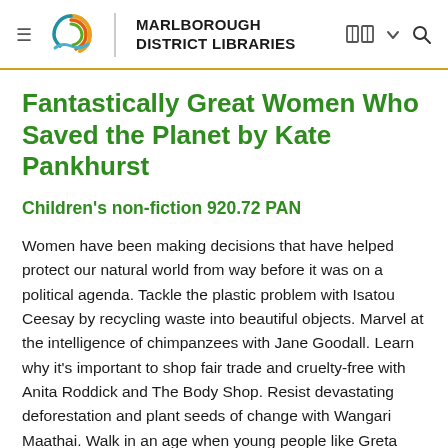Marlborough District Libraries
Fantastically Great Women Who Saved the Planet by Kate Pankhurst
Children's non-fiction 920.72 PAN
Women have been making decisions that have helped protect our natural world from way before it was on a political agenda. Tackle the plastic problem with Isatou Ceesay by recycling waste into beautiful objects. Marvel at the intelligence of chimpanzees with Jane Goodall. Learn why it's important to shop fair trade and cruelty-free with Anita Roddick and The Body Shop. Resist devastating deforestation and plant seeds of change with Wangari Maathai. Walk in an age when young people like Greta